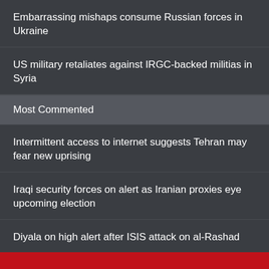Embarrassing mishaps consume Russian forces in Ukraine
US military retaliates against IRGC-backed militias in Syria
Most Commented
Intermittent access to internet suggests Tehran may fear new uprising
Iraqi security forces on alert as Iranian proxies eye upcoming election
Diyala on high alert after ISIS attack on al-Rashad
Home